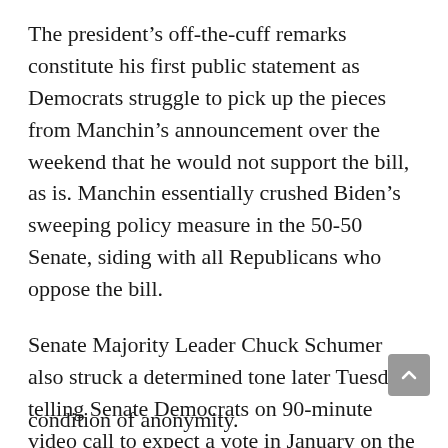The president's off-the-cuff remarks constitute his first public statement as Democrats struggle to pick up the pieces from Manchin's announcement over the weekend that he would not support the bill, as is. Manchin essentially crushed Biden's sweeping policy measure in the 50-50 Senate, siding with all Republicans who oppose the bill.
Senate Majority Leader Chuck Schumer also struck a determined tone later Tuesday, telling Senate Democrats on 90-minute video call to expect a vote in January on the package as they push toward a deal.
Schumer acknowledged the frustration among Democrats but he told senators the party was “not giving up” on the proposal, according to a Democrat on the private call who provided details on the condition of anonymity.